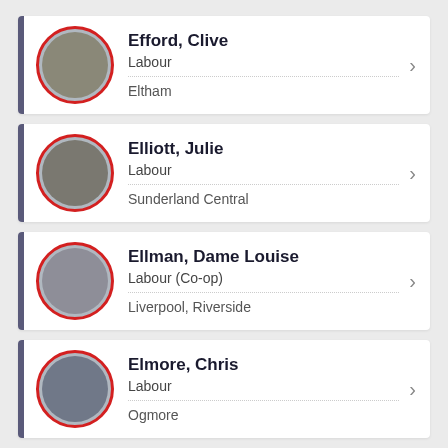Efford, Clive | Labour | Eltham
Elliott, Julie | Labour | Sunderland Central
Ellman, Dame Louise | Labour (Co-op) | Liverpool, Riverside
Elmore, Chris | Labour | Ogmore